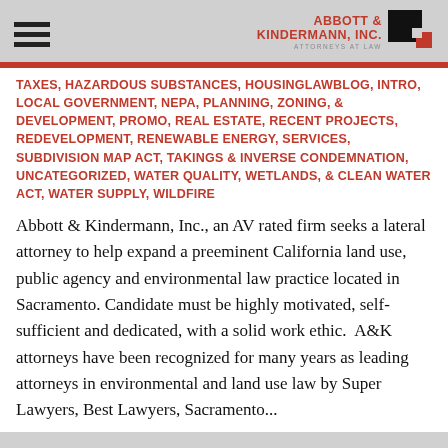[Figure (logo): Abbott & Kindermann, Inc. Attorneys at Law logo with black and red square icon and firm name in red uppercase text]
TAXES, HAZARDOUS SUBSTANCES, HOUSINGLAWBLOG, INTRO, LOCAL GOVERNMENT, NEPA, PLANNING, ZONING, & DEVELOPMENT, PROMO, REAL ESTATE, RECENT PROJECTS, REDEVELOPMENT, RENEWABLE ENERGY, SERVICES, SUBDIVISION MAP ACT, TAKINGS & INVERSE CONDEMNATION, UNCATEGORIZED, WATER QUALITY, WETLANDS, & CLEAN WATER ACT, WATER SUPPLY, WILDFIRE
Abbott & Kindermann, Inc., an AV rated firm seeks a lateral attorney to help expand a preeminent California land use, public agency and environmental law practice located in Sacramento. Candidate must be highly motivated, self-sufficient and dedicated, with a solid work ethic.  A&K attorneys have been recognized for many years as leading attorneys in environmental and land use law by Super Lawyers, Best Lawyers, Sacramento...